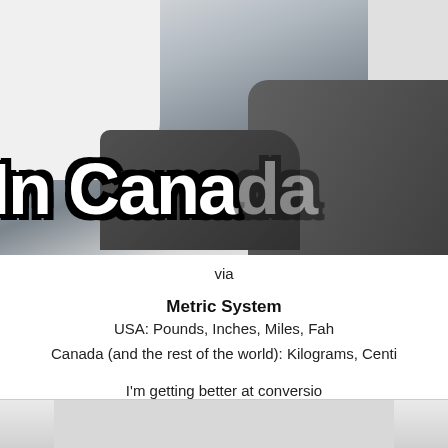[Figure (photo): A snowy road or winter scene with a vehicle, partially cropped. Large bold white text with black outline reads 'In Cana' (truncated).]
via
Metric System
USA: Pounds, Inches, Miles, Fah
Canada (and the rest of the world): Kilograms, Centi
I'm getting better at conversio
[Figure (photo): Bottom portion of another image, partially visible at the bottom of the page.]